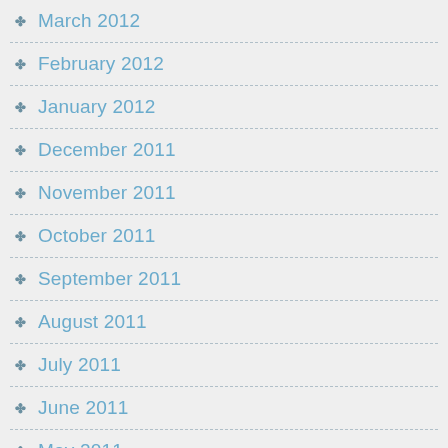March 2012
February 2012
January 2012
December 2011
November 2011
October 2011
September 2011
August 2011
July 2011
June 2011
May 2011